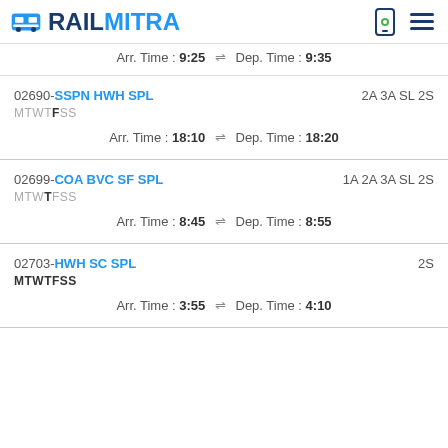RAILMITRA
Arr. Time : 9:25 ⇌ Dep. Time : 9:35
02690-SSPN HWH SPL MTWTFSS 2A 3A SL 2S
Arr. Time : 18:10 ⇌ Dep. Time : 18:20
02699-COA BVC SF SPL MTWTFSS 1A 2A 3A SL 2S
Arr. Time : 8:45 ⇌ Dep. Time : 8:55
02703-HWH SC SPL MTWTFSS 2S
Arr. Time : 3:55 ⇌ Dep. Time : 4:10